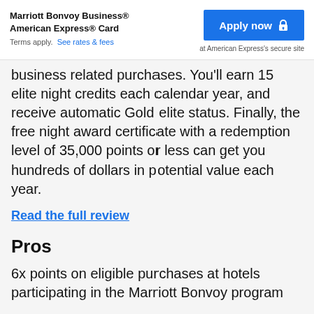Marriott Bonvoy Business® American Express® Card
Terms apply. See rates & fees
Apply now
at American Express's secure site
business related purchases. You'll earn 15 elite night credits each calendar year, and receive automatic Gold elite status. Finally, the free night award certificate with a redemption level of 35,000 points or less can get you hundreds of dollars in potential value each year.
Read the full review
Pros
6x points on eligible purchases at hotels participating in the Marriott Bonvoy program